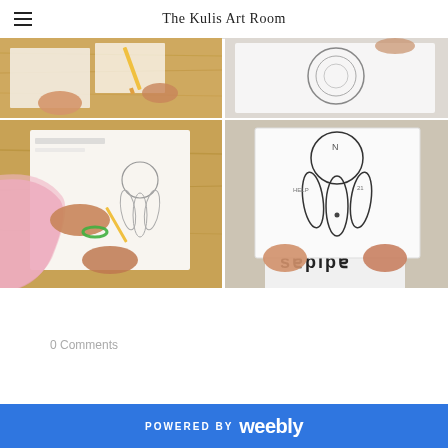The Kulis Art Room
[Figure (photo): Top-left: Close-up of student hands working on a drawing on a wooden desk surface with art supplies.]
[Figure (photo): Top-right: Student drawing with circular shapes on white paper.]
[Figure (photo): Bottom-left: Student drawing dreamcatcher-like shapes on paper with a pink strap nearby, wearing a green bracelet.]
[Figure (photo): Bottom-right: Student in Adidas shirt holding up a dreamcatcher line drawing on white paper.]
Tweet
0 Comments
POWERED BY weebly